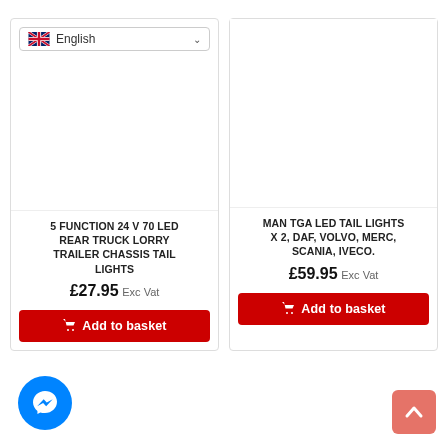[Figure (screenshot): Language selector dropdown showing UK flag and 'English' label with chevron]
[Figure (photo): Product image area for 5 Function 24V 70 LED Rear Truck Lorry Trailer Chassis Tail Lights (blank/white)]
5 FUNCTION 24 V 70 LED REAR TRUCK LORRY TRAILER CHASSIS TAIL LIGHTS
£27.95 Exc Vat
Add to basket
[Figure (photo): Product image area for MAN TGA LED Tail Lights (blank/white)]
MAN TGA LED TAIL LIGHTS X 2, DAF, VOLVO, MERC, SCANIA, IVECO.
£59.95 Exc Vat
Add to basket